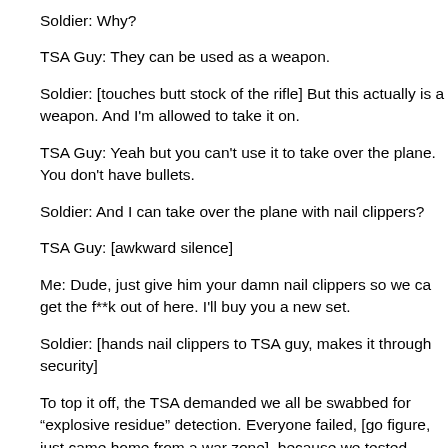Soldier: Why?
TSA Guy: They can be used as a weapon.
Soldier: [touches butt stock of the rifle] But this actually is a weapon. And I'm allowed to take it on.
TSA Guy: Yeah but you can't use it to take over the plane. You don't have bullets.
Soldier: And I can take over the plane with nail clippers?
TSA Guy: [awkward silence]
Me: Dude, just give him your damn nail clippers so we can get the f**k out of here. I'll buy you a new set.
Soldier: [hands nail clippers to TSA guy, makes it through security]
To top it off, the TSA demanded we all be swabbed for "explosive residue" detection. Everyone failed, [go figure, just came home from a war zone], because we tested positive for "Gun Powder Residue". Who the F**K is hiring these people?